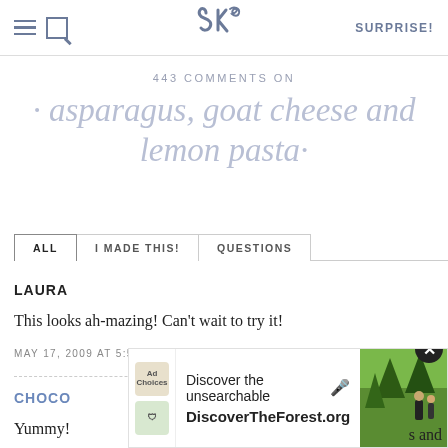SK SURPRISE!
443 COMMENTS ON
· asparagus, goat cheese and lemon pasta·
ALL | I MADE THIS! | QUESTIONS
LAURA
This looks ah-mazing! Can't wait to try it!
MAY 17, 2009 AT 5:53 PM · · REPLY
CHOCO
Yummy! ... s and
[Figure (screenshot): Ad overlay for DiscoverTheForest.org with close button, ad badges, tagline 'Discover the unsearchable', and forest photo]